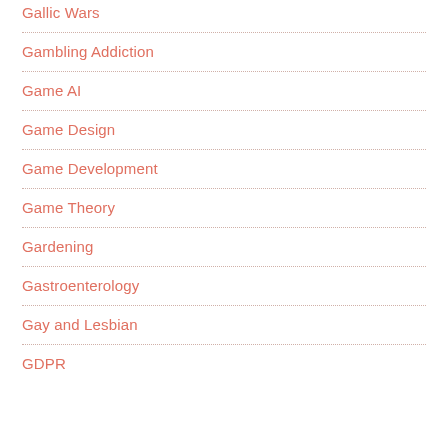Gallic Wars
Gambling Addiction
Game AI
Game Design
Game Development
Game Theory
Gardening
Gastroenterology
Gay and Lesbian
GDPR